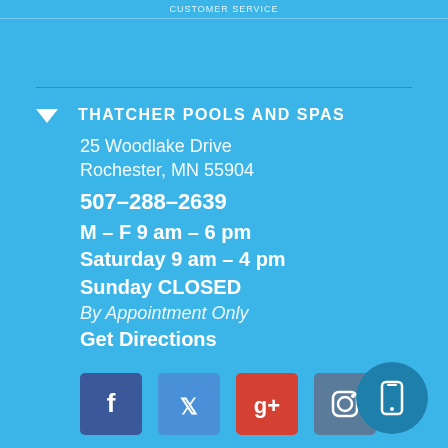CUSTOMER SERVICE
THATCHER POOLS AND SPAS
25 Woodlake Drive
Rochester, MN 55904
507-288-2639
M – F 9 am – 6 pm
Saturday 9 am – 4 pm
Sunday CLOSED
By Appointment Only
Get Directions
[Figure (other): Social media icons: Facebook, Twitter, Google+, Instagram]